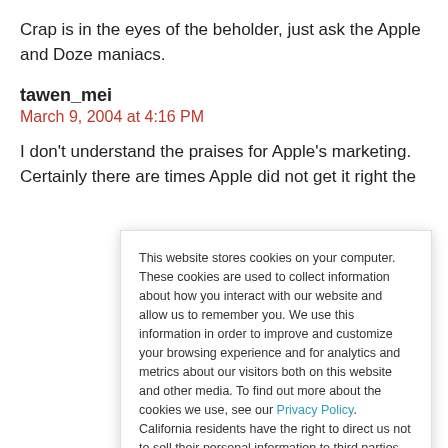Crap is in the eyes of the beholder, just ask the Apple and Doze maniacs.
tawen_mei
March 9, 2004 at 4:16 PM
I don't understand the praises for Apple's marketing. Certainly there are times Apple did not get it right the
This website stores cookies on your computer. These cookies are used to collect information about how you interact with our website and allow us to remember you. We use this information in order to improve and customize your browsing experience and for analytics and metrics about our visitors both on this website and other media. To find out more about the cookies we use, see our Privacy Policy. California residents have the right to direct us not to sell their personal information to third parties by filing an Opt-Out Request: Do Not Sell My Personal Info.
Accept